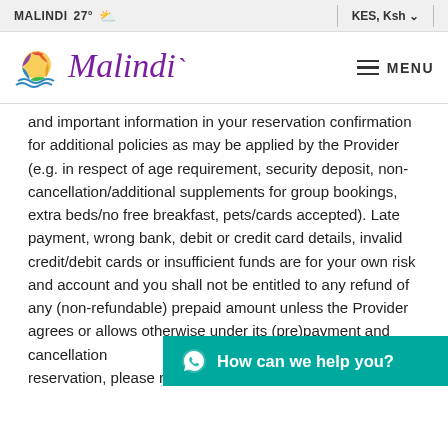MALINDI 27° ☁  |  KES, Ksh ∨
[Figure (logo): Malindi logo with colorful circular sun/sea graphic and cursive purple 'Malindi' text, with hamburger menu icon and MENU text]
and important information in your reservation confirmation for additional policies as may be applied by the Provider (e.g. in respect of age requirement, security deposit, non-cancellation/additional supplements for group bookings, extra beds/no free breakfast, pets/cards accepted). Late payment, wrong bank, debit or credit card details, invalid credit/debit cards or insufficient funds are for your own risk and account and you shall not be entitled to any refund of any (non-refundable) prepaid amount unless the Provider agrees or allows otherwise under its (pre)payment and cancellation policy. If you wish to cancel your reservation, please revert to the confirmation email and follow the instructions